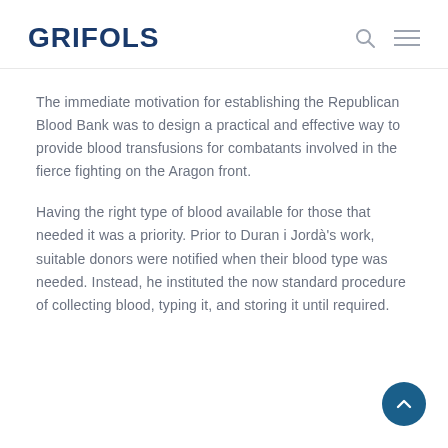GRIFOLS
The immediate motivation for establishing the Republican Blood Bank was to design a practical and effective way to provide blood transfusions for combatants involved in the fierce fighting on the Aragon front.
Having the right type of blood available for those that needed it was a priority. Prior to Duran i Jordà's work, suitable donors were notified when their blood type was needed. Instead, he instituted the now standard procedure of collecting blood, typing it, and storing it until required.